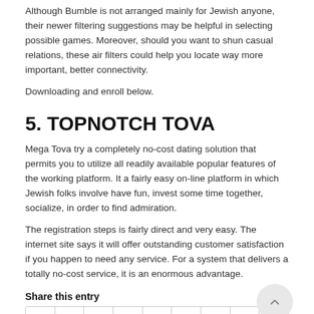Although Bumble is not arranged mainly for Jewish anyone, their newer filtering suggestions may be helpful in selecting possible games. Moreover, should you want to shun casual relations, these air filters could help you locate way more important, better connectivity.
Downloading and enroll below.
5. TOPNOTCH TOVA
Mega Tova try a completely no-cost dating solution that permits you to utilize all readily available popular features of the working platform. It a fairly easy on-line platform in which Jewish folks involve have fun, invest some time together, socialize, in order to find admiration.
The registration steps is fairly direct and very easy. The internet site says it will offer outstanding customer satisfaction if you happen to need any service. For a system that delivers a totally no-cost service, it is an enormous advantage.
Share this entry
[Figure (other): Social media sharing icons row: Facebook, Twitter, Google+, Pinterest, LinkedIn, Tumblr, VK, Reddit, Email]